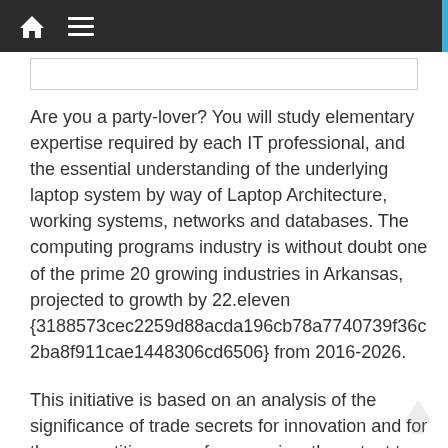Are you a party-lover? You will study elementary expertise required by each IT professional, and the essential understanding of the underlying laptop system by way of Laptop Architecture, working systems, networks and databases. The computing programs industry is without doubt one of the prime 20 growing industries in Arkansas, projected to growth by 22.eleven {3188573cec2259d88acda196cb78a7740739f36c2ba8f911cae1448306cd6506} from 2016-2026.
This initiative is based on an analysis of the significance of trade secrets for innovation and for the competitiveness of companies, the extent to which they are used, their role, and relationship